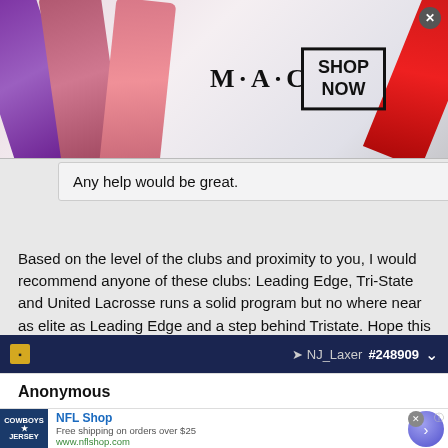[Figure (photo): MAC cosmetics advertisement banner showing lipsticks in purple, pink, and red colors, with MAC logo and SHOP NOW boxed text]
Any help would be great.
Based on the level of the clubs and proximity to you, I would recommend anyone of these clubs: Leading Edge, Tri-State and United Lacrosse runs a solid program but no where near as elite as Leading Edge and a step behind Tristate. Hope this helps & best of luck.
Like  Reply  Quote
NJ_Laxer  #248909
Anonymous
[Figure (screenshot): NFL Shop advertisement showing a Dallas Cowboys jersey shirt, text Free shipping on orders over $25, www.nflshop.com, and a circular arrow button]